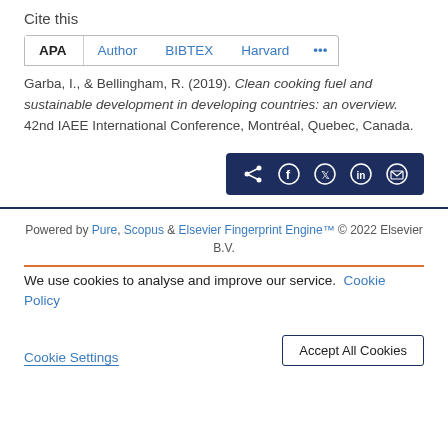Cite this
APA   Author   BIBTEX   Harvard   ...
Garba, I., & Bellingham, R. (2019). Clean cooking fuel and sustainable development in developing countries: an overview. 42nd IAEE International Conference, Montréal, Quebec, Canada.
[Figure (other): Social share buttons bar with icons for share, Facebook, Twitter, LinkedIn, and email on dark navy background]
Powered by Pure, Scopus & Elsevier Fingerprint Engine™ © 2022 Elsevier B.V.
We use cookies to analyse and improve our service. Cookie Policy
Cookie Settings    Accept All Cookies